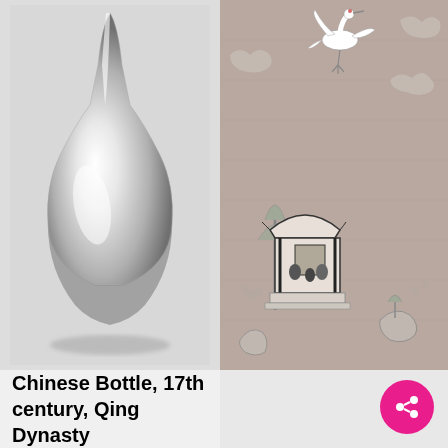[Figure (photo): Black and white photograph of a Chinese vase with a long narrow neck and rounded bulbous body, Qing Dynasty, 17th century.]
[Figure (photo): Black and white photograph of a Chinese embroidered textile panel showing a crane in flight at top, a pavilion scene with figures in the middle, and decorative plants and rocks on a patterned background.]
Chinese Bottle, 17th century, Qing Dynasty